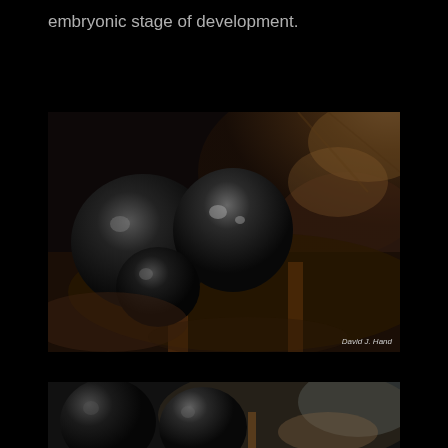embryonic stage of development.
[Figure (photo): Close-up macro photograph of insect or arthropod eggs in early embryonic development, showing dark round glossy spherical eggs nestled in fibrous/furry brown organic material. Watermark reads 'David J. Hand'.]
[Figure (photo): Partial view of another macro photograph showing similar eggs or organic material, partially cropped at the bottom of the page.]